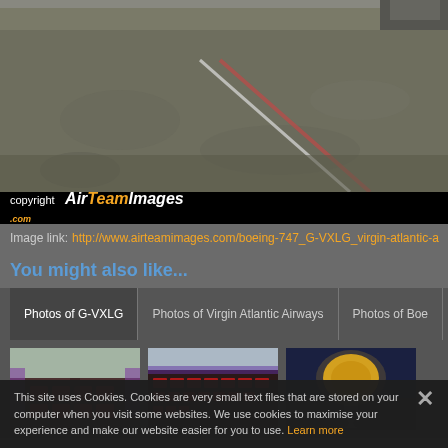[Figure (photo): Aerial/ground-level view of airport tarmac/runway with dark asphalt and white markings, partial view of aircraft tail at top]
[Figure (logo): AirTeamImages.com copyright logo on black bar — white 'Air', orange 'Team', white 'Images', orange '.com']
Image link: http://www.airteamimages.com/boeing-747_G-VXLG_virgin-atlantic-a...
You might also like...
Photos of G-VXLG | Photos of Virgin Atlantic Airways | Photos of Boe...
[Figure (photo): Interior of aircraft cabin showing red seats with purple lighting]
[Figure (photo): Interior of aircraft cabin showing rows of red seats from rear perspective]
[Figure (photo): Nose landing gear of aircraft at night with yellow/orange lighting]
This site uses Cookies. Cookies are very small text files that are stored on your computer when you visit some websites. We use cookies to maximise your experience and make our website easier for you to use. Learn more